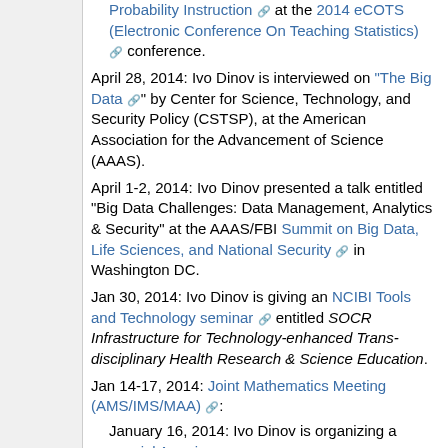Probability Instruction at the 2014 eCOTS (Electronic Conference On Teaching Statistics) conference.
April 28, 2014: Ivo Dinov is interviewed on "The Big Data" by Center for Science, Technology, and Security Policy (CSTSP), at the American Association for the Advancement of Science (AAAS).
April 1-2, 2014: Ivo Dinov presented a talk entitled "Big Data Challenges: Data Management, Analytics & Security" at the AAAS/FBI Summit on Big Data, Life Sciences, and National Security in Washington DC.
Jan 30, 2014: Ivo Dinov is giving an NCIBI Tools and Technology seminar entitled SOCR Infrastructure for Technology-enhanced Trans-disciplinary Health Research & Science Education.
Jan 14-17, 2014: Joint Mathematics Meeting (AMS/IMS/MAA):
January 16, 2014: Ivo Dinov is organizing a special American